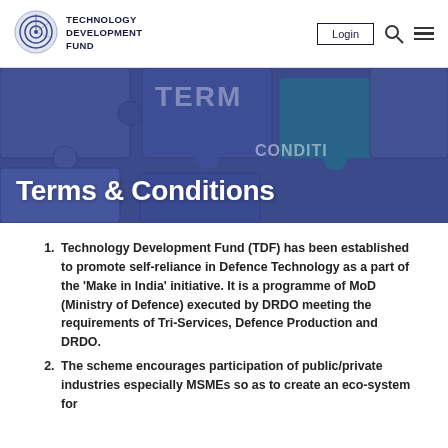TECHNOLOGY DEVELOPMENT FUND
[Figure (illustration): Technology Development Fund logo - circular radar/wave design in blue and grey]
Terms & Conditions
[Figure (photo): Puzzle pieces background in dark blue/navy with text 'TERMS' and 'CONDITIONS' visible on puzzle pieces, with one teal piece highlighted]
Technology Development Fund (TDF) has been established to promote self-reliance in Defence Technology as a part of the 'Make in India' initiative. It is a programme of MoD (Ministry of Defence) executed by DRDO meeting the requirements of Tri-Services, Defence Production and DRDO.
The scheme encourages participation of public/private industries especially MSMEs so as to create an eco-system for